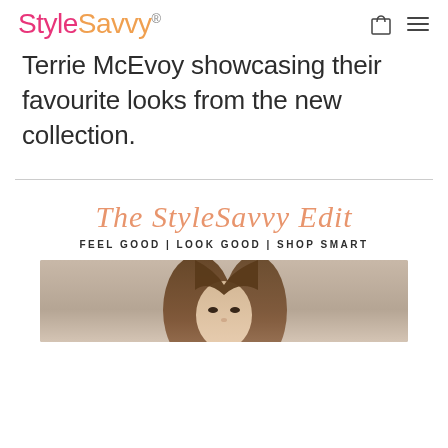StyleSavvy®
Terrie McEvoy showcasing their favourite looks from the new collection.
The StyleSavvy Edit
FEEL GOOD | LOOK GOOD | SHOP SMART
[Figure (photo): Close-up photo of a young woman with long brown hair, looking upward, dark eye makeup, against a light background]